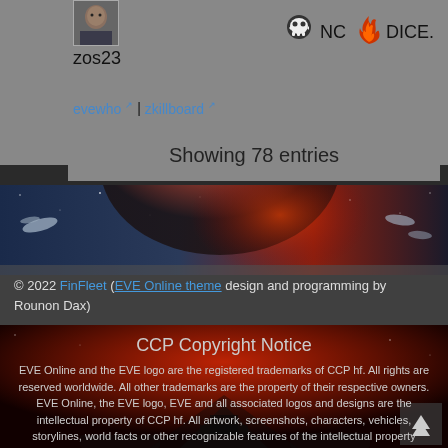[Figure (screenshot): User profile showing avatar image of a male character]
zos23
[Figure (logo): Skull and crossbones pirate logo icon]
NC
[Figure (logo): Red flame icon]
DICE.
evewho | zkillboard
Showing 78 entries
[Figure (photo): EVE Online space scene banner with spaceships and planets]
© 2022 FinFleet (EVE Online theme design and programming by Rounon Dax)
CCP Copyright Notice
EVE Online and the EVE logo are the registered trademarks of CCP hf. All rights are reserved worldwide. All other trademarks are the property of their respective owners. EVE Online, the EVE logo, EVE and all associated logos and designs are the intellectual property of CCP hf. All artwork, screenshots, characters, vehicles, storylines, world facts or other recognizable features of the intellectual property relating to these trademarks are likewise the intellectual property of CCP hf.